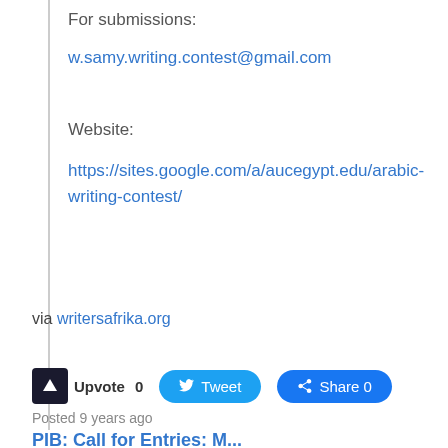For submissions:
w.samy.writing.contest@gmail.com
Website:
https://sites.google.com/a/aucegypt.edu/arabic-writing-contest/
via writersafrika.org
Upvote 0  Tweet  Share 0
Posted 9 years ago